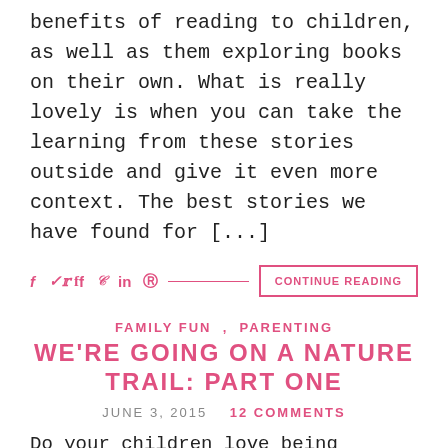benefits of reading to children, as well as them exploring books on their own. What is really lovely is when you can take the learning from these stories outside and give it even more context. The best stories we have found for [...]
f  in  @ ——————————————————— CONTINUE READING
FAMILY FUN , PARENTING
WE'RE GOING ON A NATURE TRAIL: PART ONE
JUNE 3, 2015   12 COMMENTS
Do your children love being outside? Do they love to explore? Why don't you take them on a nature trail?